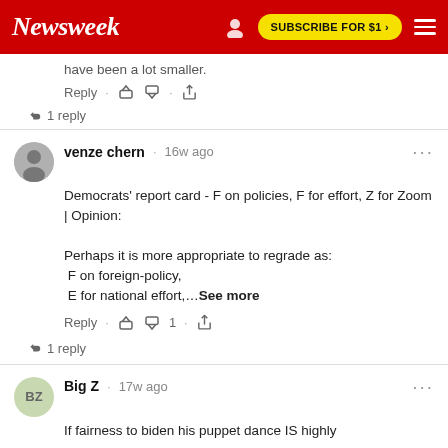Newsweek — SUBSCRIBE FOR $1 >
have been a lot smaller.
Reply · 👍 👎 · ↑
↪ 1 reply
venze chern · 16w ago
Democrats' report card - F on policies, F for effort, Z for Zoom | Opinion:

Perhaps it is more appropriate to regrade as:
 F on foreign-policy,
 E for national effort,...See more
Reply · 👍 👎 1 · ↑
↪ 1 reply
Big Z · 17w ago
If fairness to biden his puppet dance IS highly